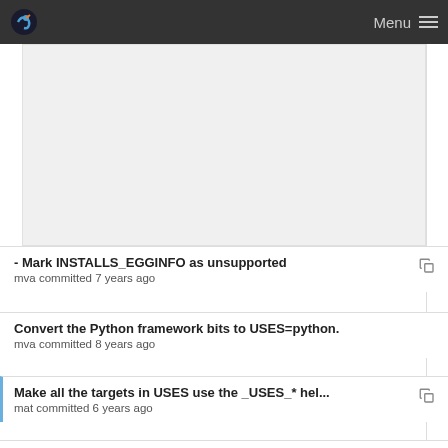Menu
[Figure (other): Advertisement/placeholder white space area]
- Mark INSTALLS_EGGINFO as unsupported
mva committed 7 years ago
Convert the Python framework bits to USES=python.
mva committed 8 years ago
Make all the targets in USES use the _USES_* hel...
mat committed 6 years ago
Convert the Python framework bits to USES=python.
mva committed 8 years ago